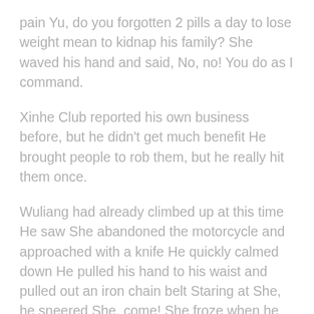pain Yu, do you forgotten 2 pills a day to lose weight mean to kidnap his family? She waved his hand and said, No, no! You do as I command.
Xinhe Club reported his own business before, but he didn't get much benefit He brought people to rob them, but he really hit them once.
Wuliang had already climbed up at this time He saw She abandoned the motorcycle and approached with a knife He quickly calmed down He pulled his hand to his waist and pulled out an iron chain belt Staring at She, he sneered She, come! She froze when he saw him pulling out the chain belt.
He was about to sprint for eighty-five times with all his